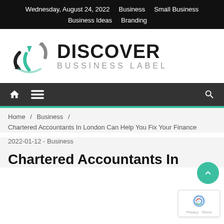Wednesday, August 24, 2022   Business   Small Business   Business Ideas   Branding
[Figure (logo): Discover Bussiness Label logo with triangular arrow icon in gray, teal, and black, followed by bold text DISCOVER and lighter text BUSSINESS LABEL]
Navigation bar with home icon, hamburger menu icon, and search icon
Home / Business / Chartered Accountants In London Can Help You Fix Your Finance
2022-01-12 - Business
Chartered Accountants In